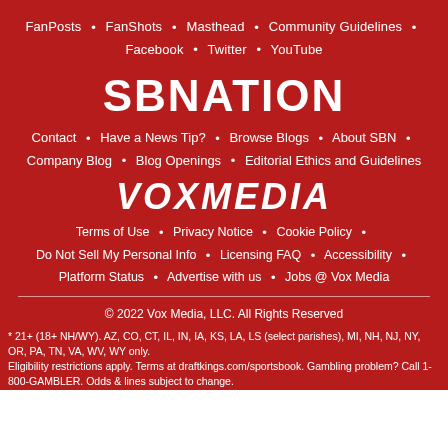FanPosts • FanShots • Masthead • Community Guidelines • Facebook • Twitter • YouTube
[Figure (logo): SBNation logo in white bold uppercase text on red background]
Contact • Have a News Tip? • Browse Blogs • About SBN • Company Blog • Blog Openings • Editorial Ethics and Guidelines
[Figure (logo): Vox Media logo in white bold italic uppercase text on red background]
Terms of Use • Privacy Notice • Cookie Policy • Do Not Sell My Personal Info • Licensing FAQ • Accessibility • Platform Status • Advertise with us • Jobs @ Vox Media
© 2022 Vox Media, LLC. All Rights Reserved
* 21+ (18+ NH/WY). AZ, CO, CT, IL, IN, IA, KS, LA, LS (select parishes), MI, NH, NJ, NY, OR, PA, TN, VA, WV, WY only. Eligibility restrictions apply. Terms at draftkings.com/sportsbook. Gambling problem? Call 1-800-GAMBLER. Odds & lines subject to change.